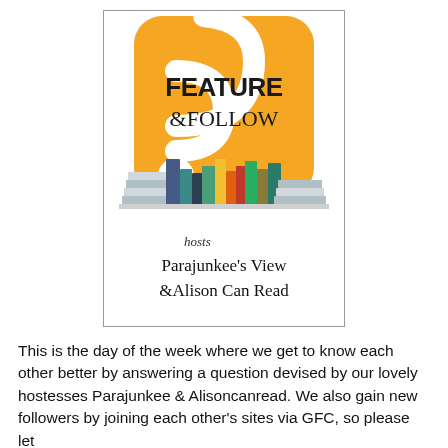[Figure (logo): Feature & Follow logo with RSS feed icon in orange/yellow, colorful books stacked, text 'hosts Parajunkee's View & Alison Can Read' in decorative font]
This is the day of the week where we get to know each other better by answering a question devised by our lovely hostesses Parajunkee & Alisoncanread. We also gain new followers by joining each other's sites via GFC, so please let